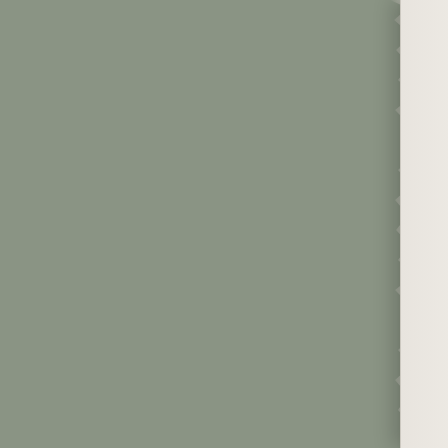[Figure (screenshot): Screenshot of a social media or comment feed showing entries with names, dates, and text bubbles. Left portion shows a torn paper effect over a muted green/grey background.]
Chamonix, Aug. 9, 2010 15:50 — Why...
Jennifer McLaughlin, Jul. 31, 2010 19:00 — I lov...
suppp, Jul. 23, 2010 20:54 — supe... j'aim... cadr... inter...
Kit, Jun. 30, 2010 4:30 — your... scho...
[blue-gray bubble] Than... a lon... but a... that i...
Raach Mélanie, May 7, 2010 23:26 — Bon... l'exp... Mag...
Julianna, May 6, 2010 22:14 — Tho... But,... I tru... your...